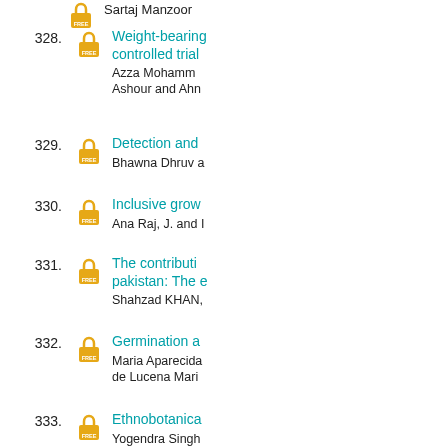Sartaj Manzoor
328. Weight-bearing... controlled trial... Azza Mohamm... Ashour and Ahn
329. Detection and... Bhawna Dhruv a
330. Inclusive grow... Ana Raj, J. and I
331. The contributi... pakistan: The e... Shahzad KHAN,
332. Germination a... Maria Aparecida... de Lucena Mari
333. Ethnobotanica... Yogendra Singh
334. Complex oligo... density (MVD)... Vigneshwaran